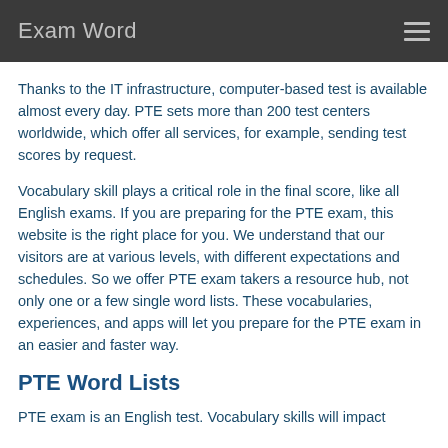Exam Word
Thanks to the IT infrastructure, computer-based test is available almost every day. PTE sets more than 200 test centers worldwide, which offer all services, for example, sending test scores by request.
Vocabulary skill plays a critical role in the final score, like all English exams. If you are preparing for the PTE exam, this website is the right place for you. We understand that our visitors are at various levels, with different expectations and schedules. So we offer PTE exam takers a resource hub, not only one or a few single word lists. These vocabularies, experiences, and apps will let you prepare for the PTE exam in an easier and faster way.
PTE Word Lists
PTE exam is an English test. Vocabulary skills will impact